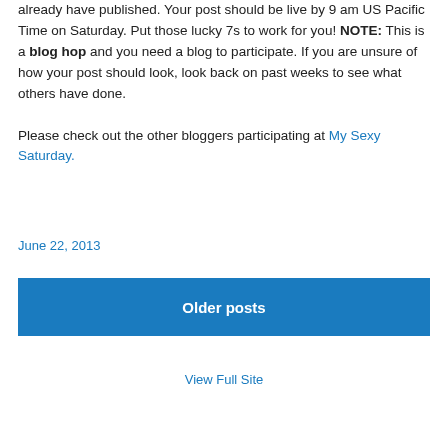already have published. Your post should be live by 9 am US Pacific Time on Saturday. Put those lucky 7s to work for you! NOTE: This is a blog hop and you need a blog to participate. If you are unsure of how your post should look, look back on past weeks to see what others have done.

Please check out the other bloggers participating at My Sexy Saturday.
June 22, 2013
Older posts
View Full Site